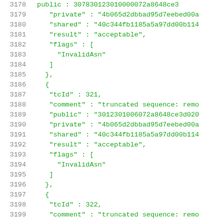Code listing lines 3178-3199, JSON test vector data with line numbers, green monospace on white background
3178   public : 307830123010000072a8648ce3...
3179      "private" : "4b065d2dbbad95d7eebed00a...
3180      "shared" : "40c344fb1185a5a97dd00b114...
3181      "result" : "acceptable",
3182      "flags" : [
3183        "InvalidAsn"
3184      ]
3185   },
3186   {
3187      "tcId" : 321,
3188      "comment" : "truncated sequence: remo...
3189      "public" : "3012301006072a8648ce3d020...
3190      "private" : "4b065d2dbbad95d7eebed00a...
3191      "shared" : "40c344fb1185a5a97dd00b114...
3192      "result" : "acceptable",
3193      "flags" : [
3194        "InvalidAsn"
3195      ]
3196   },
3197   {
3198      "tcId" : 322,
3199      "comment" : "truncated sequence: remo...